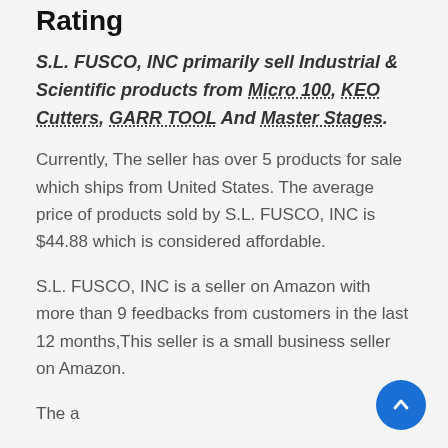Rating
S.L. FUSCO, INC primarily sell Industrial & Scientific products from Micro 100, KEO Cutters, GARR TOOL And Master Stages.
Currently, The seller has over 5 products for sale which ships from United States. The average price of products sold by S.L. FUSCO, INC is $44.88 which is considered affordable.
S.L. FUSCO, INC is a seller on Amazon with more than 9 feedbacks from customers in the last 12 months,This seller is a small business seller on Amazon.
The a... that the seller has ...